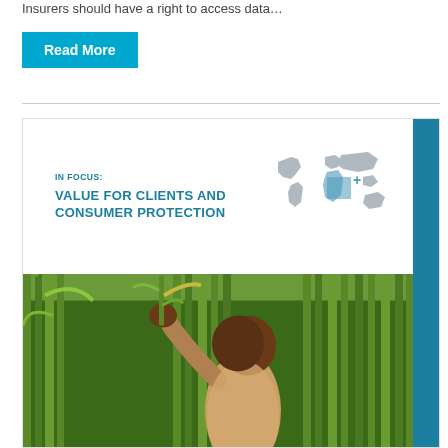Insurers should have a right to access data…
Read More
[Figure (photo): Farmer in a field of tall green crops (maize/sorghum), examining plant leaves, with trees and sky in background]
IN FOCUS: VALUE FOR CLIENTS AND CONSUMER PROTECTION